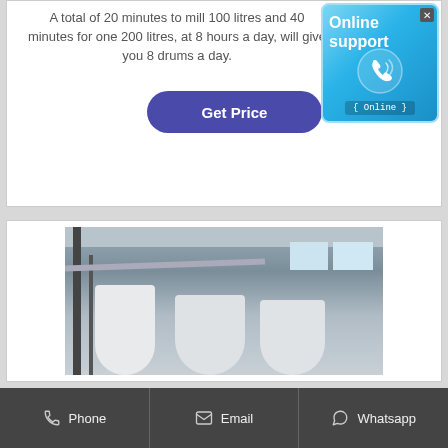A total of 20 minutes to mill 100 litres and 40 minutes for one 200 litres, at 8 hours a day, will give you 8 drums a day.
[Figure (screenshot): Blue online support badge with phone icon and 'Online support' text and '{ Online }' label]
[Figure (photo): Industrial equipment photo showing large white cylindrical tanks/drums inside a warehouse or factory building with metal scaffolding and pipes]
Phone   Email   Whatsapp